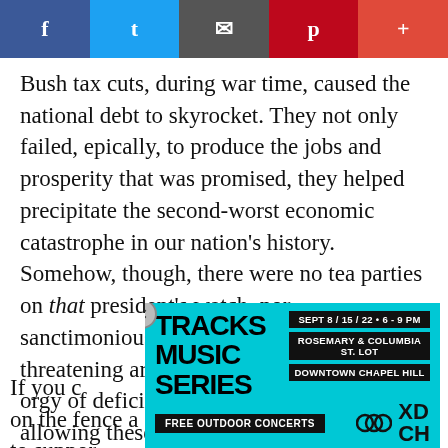[Figure (other): Social media share bar with Facebook, Twitter, Email, Pinterest, and More buttons]
Bush tax cuts, during war time, caused the national debt to skyrocket. They not only failed, epically, to produce the jobs and prosperity that was promised, they helped precipitate the second-worst economic catastrophe in our nation's history. Somehow, though, there were no tea parties on that president's watch, nor sanctimonious national checkbook watchers threatening armed insurrection over that orgy of deficit spending. The cost of not allowing these fiscally irresponsible tax cuts for the wealthiest Americans to expire is a whopping four trillion dollars.
If you care about this country ... on the fence a ... late to support ... to
[Figure (other): Advertisement overlay: Tracks Music Series, Sept 8/15/22, 6-9 PM, Rosemary & Columbia St. Lot, Downtown Chapel Hill, Free Outdoor Concerts, Community Arts & Culture, XDCH logo]